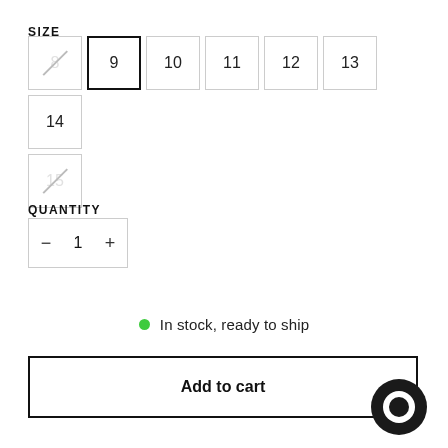SIZE
[Figure (other): Size selector grid with sizes 8 (unavailable/strikethrough), 9 (selected/bold border), 10, 11, 12, 13, 14 in first row; 15 (unavailable/strikethrough) in second row]
QUANTITY
[Figure (other): Quantity stepper control showing minus button, value 1, and plus button inside a bordered box]
In stock, ready to ship
Add to cart